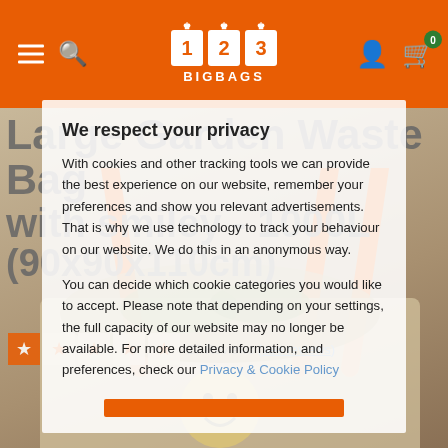123 BIGBAGS
Large Garden Waste Bag with smiley - 1000L (90x90x110cm)
27 Reviews (see reviews)
[Figure (photo): Large garden waste bag with orange handles filled with garden waste]
We respect your privacy

With cookies and other tracking tools we can provide the best experience on our website, remember your preferences and show you relevant advertisements. That is why we use technology to track your behaviour on our website. We do this in an anonymous way.

You can decide which cookie categories you would like to accept. Please note that depending on your settings, the full capacity of our website may no longer be available. For more detailed information, and preferences, check our Privacy & Cookie Policy